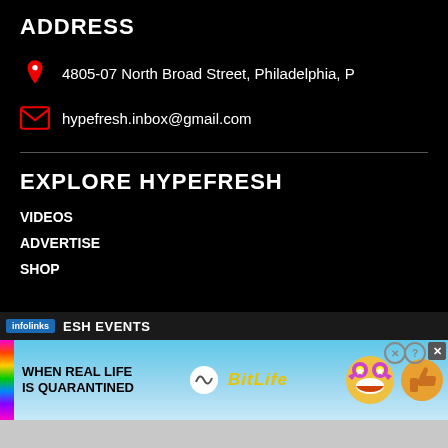ADDRESS
4805-07 North Broad Street, Philadelphia, P
hypefresh.inbox@gmail.com
EXPLORE HYPEFRESH
VIDEOS
ADVERTISE
SHOP
ESH EVENTS
[Figure (screenshot): Infolinks advertisement bar with 'infolinks' logo and 'ESH EVENTS' text]
[Figure (screenshot): BitLife advertisement banner reading 'WHEN REAL LIFE IS QUARANTINED' with rainbow strip and BitLife logo with emoji characters]